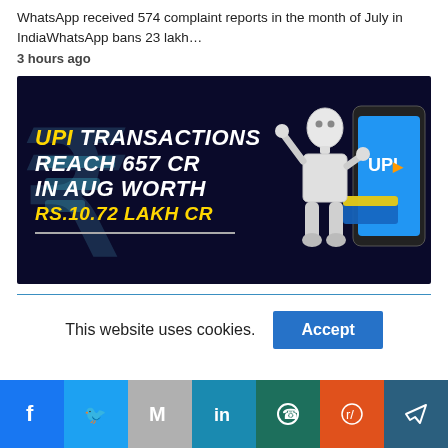WhatsApp received 574 complaint reports in the month of July in IndiaWhatsApp bans 23 lakh…
3 hours ago
[Figure (infographic): Dark blue background infographic showing UPI TRANSACTIONS REACH 657 CR IN AUG WORTH RS.10.72 LAKH CR in gold and white bold italic text, with a large rupee symbol on the left, a 3D white robot figure in the center-right pointing to a smartphone displaying UPI logo.]
This website uses cookies.
Social share bar: Facebook, Twitter, Gmail, LinkedIn, WhatsApp, Reddit, Telegram